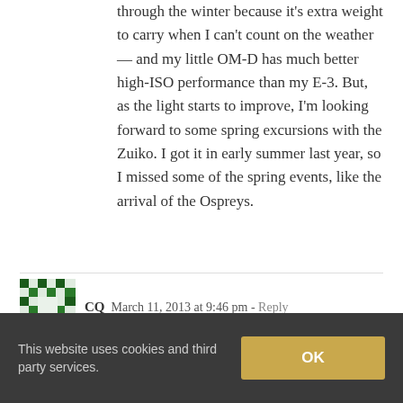through the winter because it's extra weight to carry when I can't count on the weather — and my little OM-D has much better high-ISO performance than my E-3. But, as the light starts to improve, I'm looking forward to some spring excursions with the Zuiko. I got it in early summer last year, so I missed some of the spring events, like the arrival of the Ospreys.
CQ  March 11, 2013 at 9:46 pm - Reply
[Figure (illustration): Green and white pixelated avatar icon with diamond/cross pattern on dark green background]
Not being a photographer or a birder or a frequenter of places where American Coots hang out, I'd never heard of that species bef...
This website uses cookies and third party services.